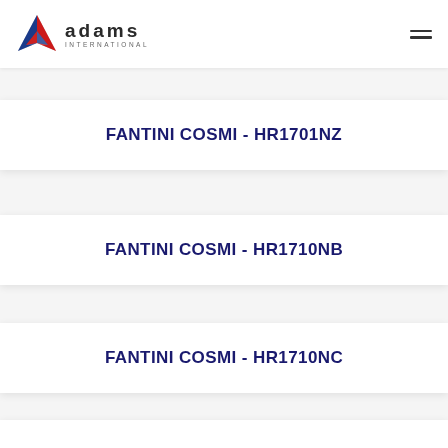[Figure (logo): Adams International logo with red/blue triangle icon and company name]
FANTINI COSMI - HR1701NZ
FANTINI COSMI - HR1710NB
FANTINI COSMI - HR1710NC
FANTINI COSMI - HR1710ND